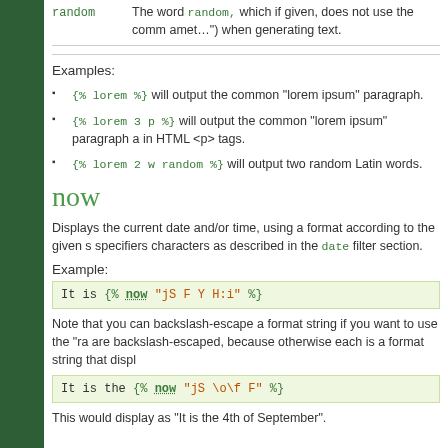| Term | Description |
| --- | --- |
| random | The word random, which if given, does not use the comm amet...) when generating text. |
Examples:
{% lorem %} will output the common "lorem ipsum" paragraph.
{% lorem 3 p %} will output the common "lorem ipsum" paragraph a in HTML <p> tags.
{% lorem 2 w random %} will output two random Latin words.
now
Displays the current date and/or time, using a format according to the given s specifiers characters as described in the date filter section.
Example:
[Figure (screenshot): Code block showing: It is {% now "jS F Y H:i" %}]
Note that you can backslash-escape a format string if you want to use the "ra are backslash-escaped, because otherwise each is a format string that displ
[Figure (screenshot): Code block showing: It is the {% now "jS \o\f F" %}]
This would display as "It is the 4th of September".